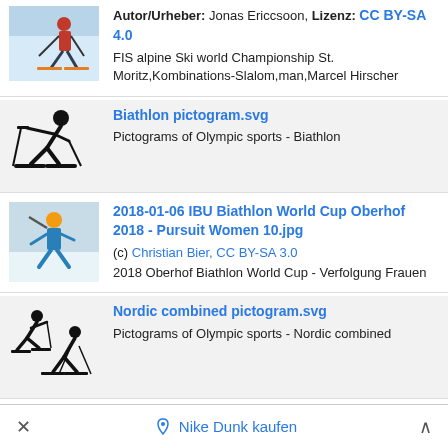Autor/Urheber: Jonas Ericcsoon, Lizenz: CC BY-SA 4.0
FIS alpine Ski world Championship St. Moritz,Kombinations-Slalom,man,Marcel Hirscher
[Figure (photo): Alpine skier in red outfit on slope]
Biathlon pictogram.svg
Pictograms of Olympic sports - Biathlon
[Figure (illustration): Biathlon pictogram - silhouette of cross-country skier with rifle]
2018-01-06 IBU Biathlon World Cup Oberhof 2018 - Pursuit Women 10.jpg
(c) Christian Bier, CC BY-SA 3.0
2018 Oberhof Biathlon World Cup - Verfolgung Frauen
[Figure (photo): Biathlon athlete with rifle in snowy race setting]
Nordic combined pictogram.svg
Pictograms of Olympic sports - Nordic combined
[Figure (illustration): Nordic combined pictogram - two silhouette figures skiing]
20180128 FIS NC WC Seefeld...
Nike Dunk kaufen